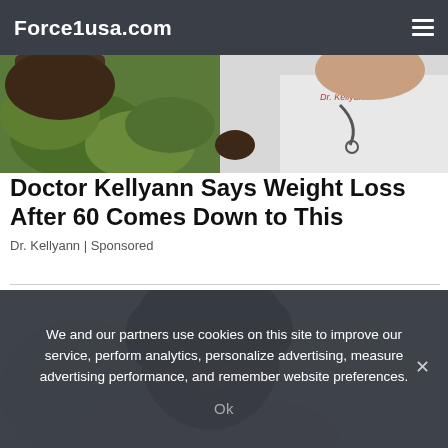Force1usa.com
[Figure (photo): Top banner photo showing a person with leafy greens on the left and a doctor wearing a stethoscope on the right]
Doctor Kellyann Says Weight Loss After 60 Comes Down to This
Dr. Kellyann | Sponsored
[Figure (photo): Photo of a Black woman with short curly hair wearing a light pink top, looking downward]
We and our partners use cookies on this site to improve our service, perform analytics, personalize advertising, measure advertising performance, and remember website preferences.
Ok